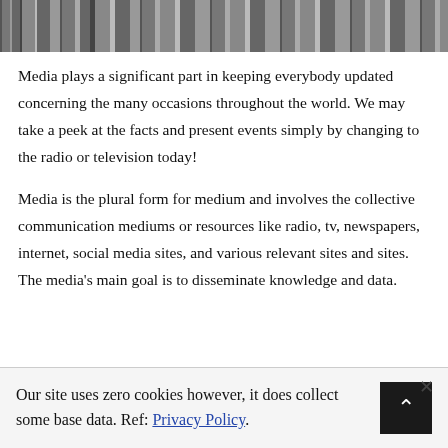[Figure (photo): Black and white photo strip showing vintage electronics including radios and televisions]
Media plays a significant part in keeping everybody updated concerning the many occasions throughout the world. We may take a peek at the facts and present events simply by changing to the radio or television today!
Media is the plural form for medium and involves the collective communication mediums or resources like radio, tv, newspapers, internet, social media sites, and various relevant sites and sites. The media's main goal is to disseminate knowledge and data.
Our site uses zero cookies however, it does collect some base data. Ref: Privacy Policy.